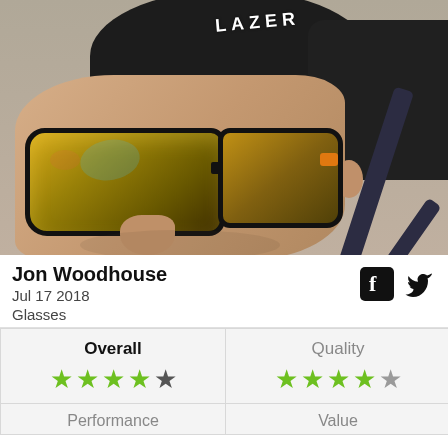[Figure (photo): Man wearing a black Lazer cycling helmet and yellow-mirrored sunglasses, close-up portrait shot]
Jon Woodhouse
Jul 17 2018
Glasses
| Overall | Quality |
| --- | --- |
| ★★★★☆ (4 stars) | ★★★★½ (4.5 stars) |
| Performance | Value |